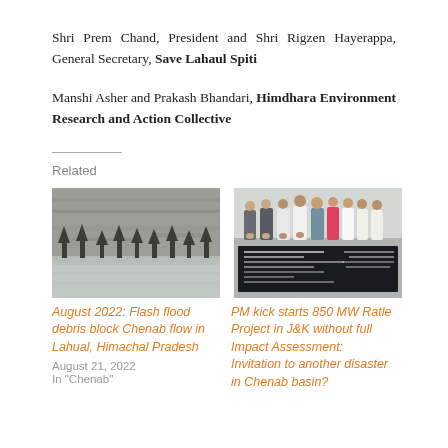Shri Prem Chand, President and Shri Rigzen Hayerappa, General Secretary, Save Lahaul Spiti
Manshi Asher and Prakash Bhandari, Himdhara Environment Research and Action Collective
Related
[Figure (photo): Flash flood debris blocking Chenab river flow, landscape view with trees in foreground]
August 2022: Flash flood debris block Chenab flow in Lahual, Himachal Pradesh
August 21, 2022
In "Chenab"
[Figure (photo): Group of politicians/officials standing at inauguration ceremony with a plaque/board visible]
PM kick starts 850 MW Ratle Project in J&K without full Impact Assessment: Invitation to another disaster in Chenab basin?